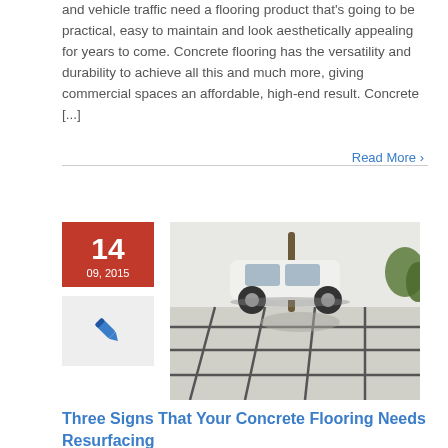and vehicle traffic need a flooring product that's going to be practical, easy to maintain and look aesthetically appealing for years to come. Concrete flooring has the versatility and durability to achieve all this and much more, giving commercial spaces an affordable, high-end result. Concrete [...]
Read More >
[Figure (infographic): Red date block showing '14' in large white text and '09, 2015' below. Below the date block is a grey box with a pen/pencil icon in blue. To the right is a photograph of a concrete tiled outdoor area with a white car, a tree, and a white wall in the background.]
Three Signs That Your Concrete Flooring Needs Resurfacing